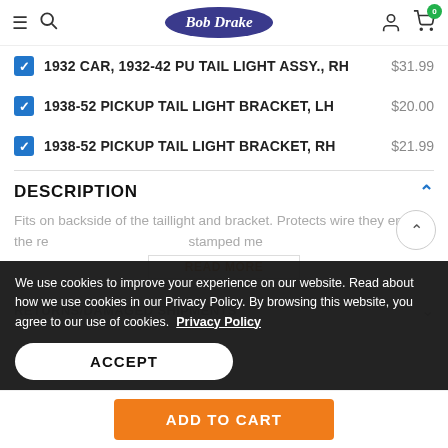Bob Drake - navigation header with hamburger menu, search, logo, account, cart (0)
1932 CAR, 1932-42 PU TAIL LIGHT ASSY., RH $31.99
1938-52 PICKUP TAIL LIGHT BRACKET, LH $20.00
1938-52 PICKUP TAIL LIGHT BRACKET, RH $21.99
DESCRIPTION
Fits on backside of the taillight and bracket. Protects wire they enter the re stamped me
We use cookies to improve your experience on our website. Read about how we use cookies in our Privacy Policy. By browsing this website, you agree to our use of cookies.  Privacy Policy
ACCEPT
RETURNS/DAMAGED SHIPMENTS
ADD TO CART